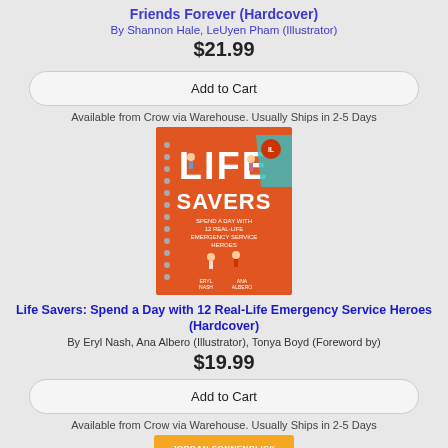Friends Forever (Hardcover)
By Shannon Hale, LeUyen Pham (Illustrator)
$21.99
Add to Cart
Available from Crow via Warehouse. Usually Ships in 2-5 Days
[Figure (photo): Book cover of Life Savers: Spend a Day with 12 Real-Life Emergency Service Heroes, orange cover with illustrated characters]
Life Savers: Spend a Day with 12 Real-Life Emergency Service Heroes (Hardcover)
By Eryl Nash, Ana Albero (Illustrator), Tonya Boyd (Foreword by)
$19.99
Add to Cart
Available from Crow via Warehouse. Usually Ships in 2-5 Days
[Figure (photo): Partial view of another book by Jordan Sonnenblick, orange/yellow cover visible at bottom]